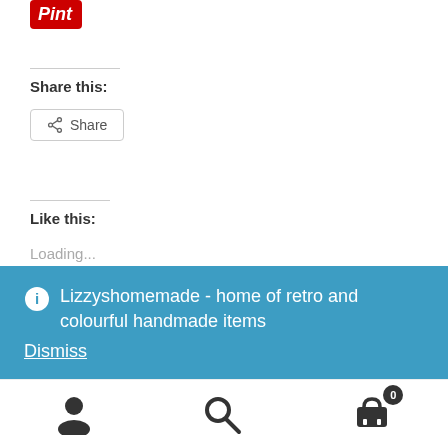[Figure (logo): Pinterest red button with italic 'Pint' text]
Share this:
[Figure (other): Share button with share icon]
Like this:
Loading...
ℹ Lizzyshomemade - home of retro and colourful handmade items Dismiss
User icon | Search icon | Cart icon with badge 0